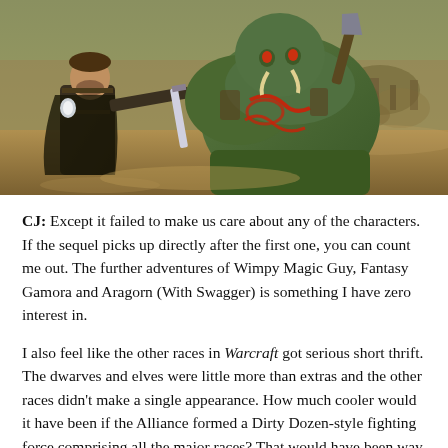[Figure (photo): A movie scene from Warcraft showing a human warrior in dark armor holding a sword facing a large green-skinned orc with red tribal markings and massive arms, in a battle scene with more warriors visible in the background.]
CJ: Except it failed to make us care about any of the characters. If the sequel picks up directly after the first one, you can count me out. The further adventures of Wimpy Magic Guy, Fantasy Gamora and Aragorn (With Swagger) is something I have zero interest in.
I also feel like the other races in Warcraft got serious short thrift. The dwarves and elves were little more than extras and the other races didn't make a single appearance. How much cooler would it have been if the Alliance formed a Dirty Dozen-style fighting force comprising all the major races? That would have been way more interesting than the